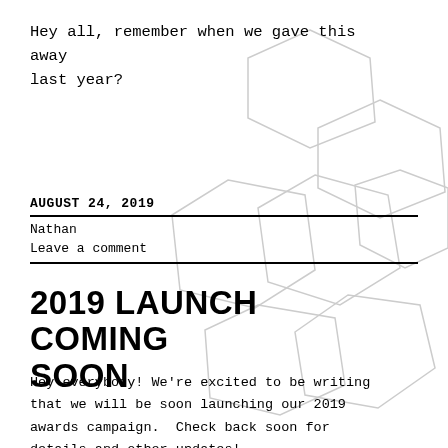Hey all, remember when we gave this away last year?
[Figure (illustration): Decorative hexagonal/pentagonal soccer ball panel shapes arranged in a cluster, outlined in light gray, overlapping across the upper and middle portions of the page background.]
AUGUST 24, 2019
Nathan
Leave a comment
2019 LAUNCH COMING SOON
Hey everybody! We're excited to be writing that we will be soon launching our 2019 awards campaign. Check back soon for details and other updates!